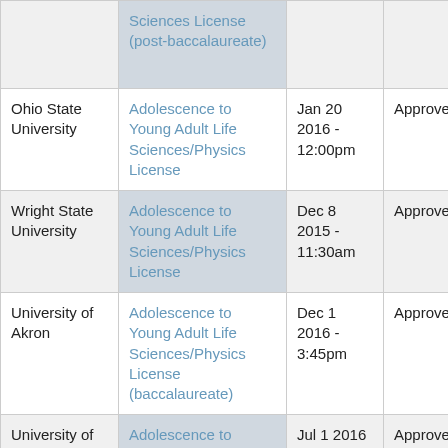| Institution | Program | Date | Status |
| --- | --- | --- | --- |
|  | Sciences License (post-baccalaureate) |  |  |
| Ohio State University | Adolescence to Young Adult Life Sciences/Physics License | Jan 20 2016 - 12:00pm | Approved |
| Wright State University | Adolescence to Young Adult Life Sciences/Physics License | Dec 8 2015 - 11:30am | Approved |
| University of Akron | Adolescence to Young Adult Life Sciences/Physics License (baccalaureate) | Dec 1 2016 - 3:45pm | Approved |
| University of Dayton | Adolescence to Young Adult Life Sciences... | Jul 1 2016 - 3:40pm | Approved |